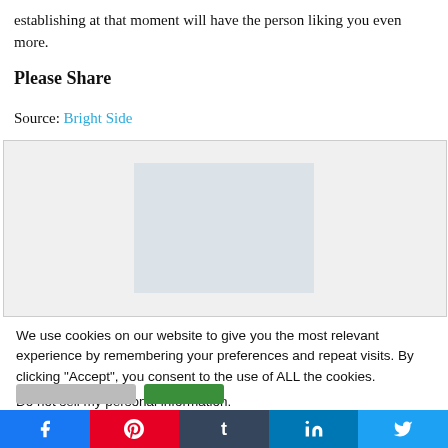establishing at that moment will have the person liking you even more.
Please Share
Source: Bright Side
[Figure (photo): A faded/light photo of a person, partially visible, light grey tones]
We use cookies on our website to give you the most relevant experience by remembering your preferences and repeat visits. By clicking “Accept”, you consent to the use of ALL the cookies.
Do not sell my personal information.
[Figure (other): Cookie consent buttons: grey reject button and green accept button]
[Figure (other): Social share buttons row: Facebook, Pinterest, Tumblr, LinkedIn, Twitter]